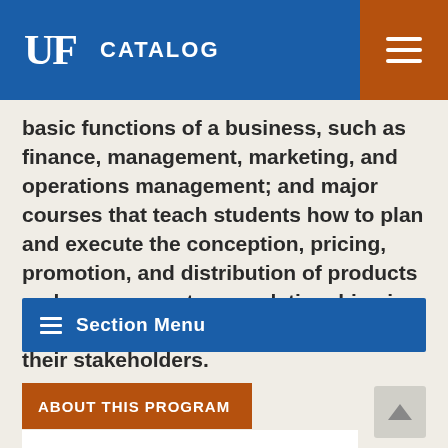UF CATALOG
basic functions of a business, such as finance, management, marketing, and operations management; and major courses that teach students how to plan and execute the conception, pricing, promotion, and distribution of products and manage customer relationships in ways that benefit organizations and their stakeholders.
Section Menu
ABOUT THIS PROGRAM